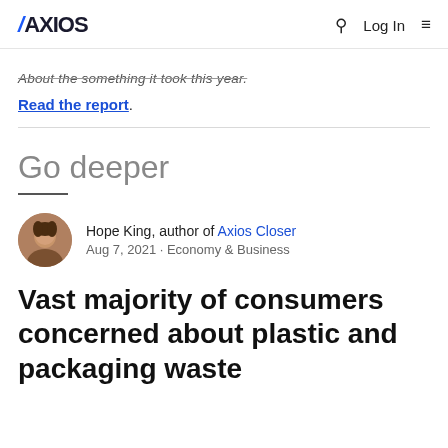AXIOS   Q   Log In   ≡
About the something it took this year.
Read the report.
Go deeper
Hope King, author of Axios Closer
Aug 7, 2021 · Economy & Business
Vast majority of consumers concerned about plastic and packaging waste